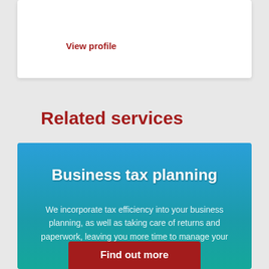View profile
Related services
Business tax planning
We incorporate tax efficiency into your business planning, as well as taking care of returns and paperwork, leaving you more time to manage your business.
Find out more